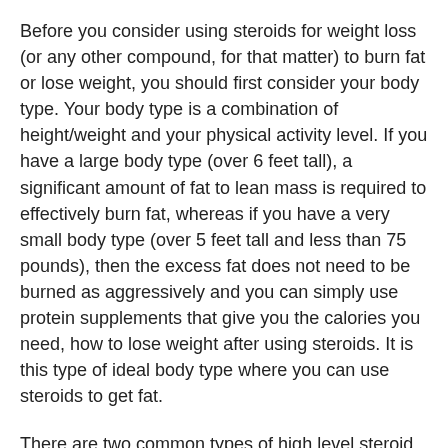Before you consider using steroids for weight loss (or any other compound, for that matter) to burn fat or lose weight, you should first consider your body type. Your body type is a combination of height/weight and your physical activity level. If you have a large body type (over 6 feet tall), a significant amount of fat to lean mass is required to effectively burn fat, whereas if you have a very small body type (over 5 feet tall and less than 75 pounds), then the excess fat does not need to be burned as aggressively and you can simply use protein supplements that give you the calories you need, how to lose weight after using steroids. It is this type of ideal body type where you can use steroids to get fat.
There are two common types of high level steroid users - the hyper-responders and the non-responders, how to use collagen